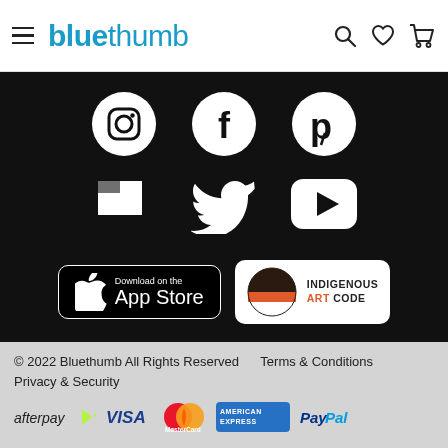bluethumb
[Figure (screenshot): Social media icons on dark background: Instagram, Facebook, Pinterest, Houzz, Twitter, YouTube]
[Figure (screenshot): Download on the App Store badge]
[Figure (logo): Indigenous Art Code logo]
© 2022 Bluethumb All Rights Reserved   Terms & Conditions   Privacy & Security
[Figure (screenshot): Payment method logos: afterpay, VISA, MasterCard, American Express, PayPal]